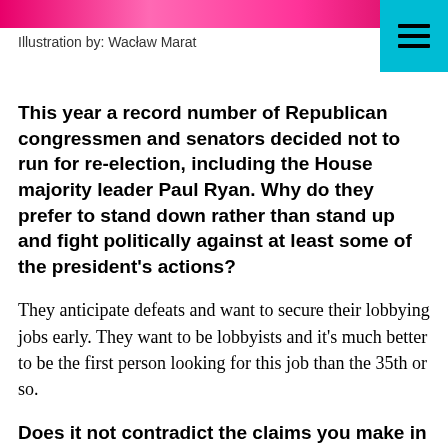[Figure (illustration): Decorative pink/magenta illustration strip at top of page]
Illustration by: Wacław Marat
This year a record number of Republican congressmen and senators decided not to run for re-election, including the House majority leader Paul Ryan. Why do they prefer to stand down rather than stand up and fight politically against at least some of the president's actions?
They anticipate defeats and want to secure their lobbying jobs early. They want to be lobbyists and it's much better to be the first person looking for this job than the 35th or so.
Does it not contradict the claims you make in the book? If you anticipate trumpists and Trump to lose, does it not mean that the system is healthy and can defend itself?
Some Republican anticipate...